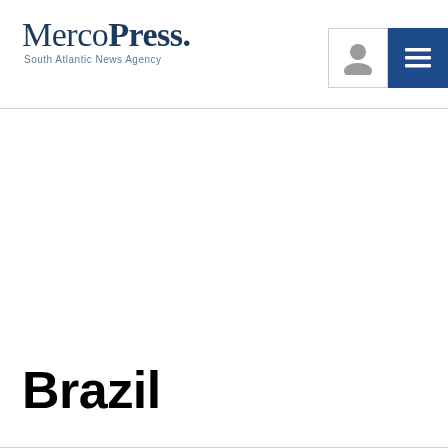MercoPress. South Atlantic News Agency
Brazil